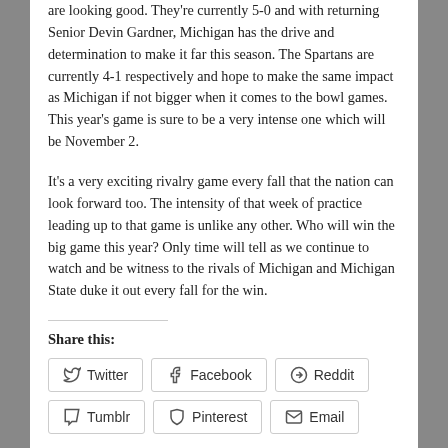are looking good. They're currently 5-0 and with returning Senior Devin Gardner, Michigan has the drive and determination to make it far this season. The Spartans are currently 4-1 respectively and hope to make the same impact as Michigan if not bigger when it comes to the bowl games. This year's game is sure to be a very intense one which will be November 2.
It's a very exciting rivalry game every fall that the nation can look forward too. The intensity of that week of practice leading up to that game is unlike any other. Who will win the big game this year? Only time will tell as we continue to watch and be witness to the rivals of Michigan and Michigan State duke it out every fall for the win.
Share this:
Twitter | Facebook | Reddit | Tumblr | Pinterest | Email